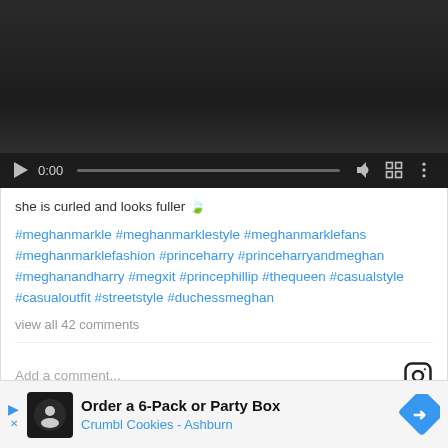[Figure (screenshot): Video player with dark background showing controls: play button, timestamp 0:00, progress bar, volume icon, fullscreen icon, and more options icon]
she is curled and looks fuller 🍃
#meghanmarkle #meghanmarklestyle #meghanmarklefans #meghanmarklefashion #princeharry #princeharryandmeghan #meghanandharry #megxit #princephillip #thequeen #casualstyle #casualoutfit #streetstyle #duchessmeghan
view all 42 comments
Add a comment...
It appears that FLOTUS is not the only fan of the said Oscar de la
[Figure (screenshot): Advertisement banner: Order a 6-Pack or Party Box - Crumbl Cookies - Ashburn]